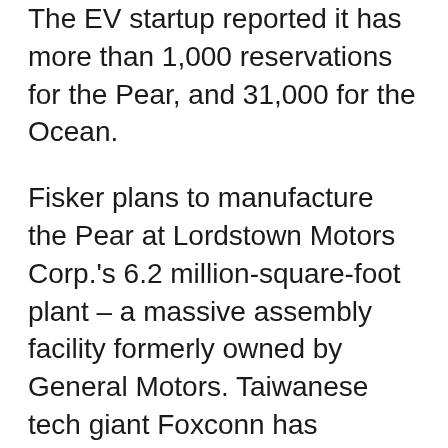The EV startup reported it has more than 1,000 reservations for the Pear, and 31,000 for the Ocean.
Fisker plans to manufacture the Pear at Lordstown Motors Corp.'s 6.2 million-square-foot plant – a massive assembly facility formerly owned by General Motors. Taiwanese tech giant Foxconn has entered into an agreement to purchase the plant from Lordstown Motors for $230 million, and Foxconn would act as the contract manufacturer for Fisker.
Fisker said one advantage is that both Foxconn and Fisker have a working